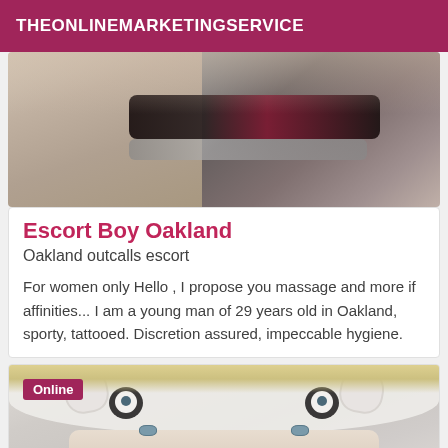THEONLINEMARKETINGSERVICE
[Figure (photo): Close-up photo of a person holding something, wearing a dark band/bracelet with 'DIM' text visible, grey clothing]
Escort Boy Oakland
Oakland outcalls escort
For women only Hello , I propose you massage and more if affinities... I am a young man of 29 years old in Oakland, sporty, tattooed. Discretion assured, impeccable hygiene.
[Figure (photo): Photo of a person wearing a white panda/owl hat/mask, with blonde hair visible and blue/grey eyes looking at camera. An 'Online' badge overlays the top-left corner.]